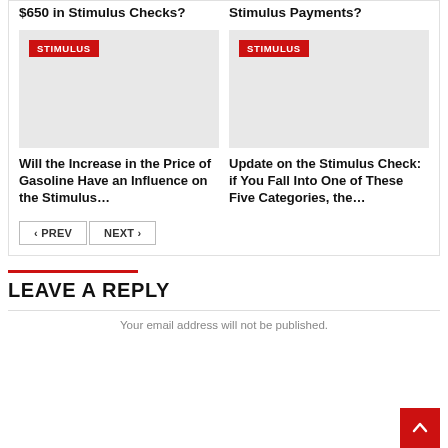$650 in Stimulus Checks?
Stimulus Payments?
[Figure (photo): Gray placeholder image with red STIMULUS badge, left card]
STIMULUS
[Figure (photo): Gray placeholder image with red STIMULUS badge, right card]
STIMULUS
Will the Increase in the Price of Gasoline Have an Influence on the Stimulus…
Update on the Stimulus Check: if You Fall Into One of These Five Categories, the…
‹ PREV
NEXT ›
LEAVE A REPLY
Your email address will not be published.